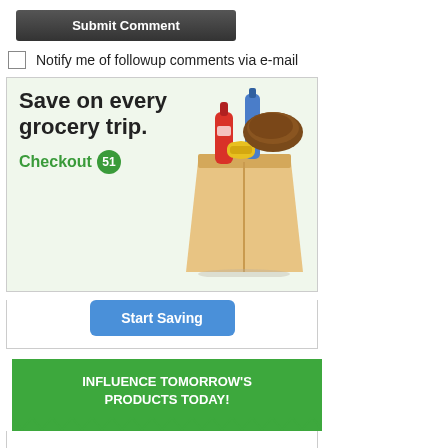Submit Comment
Notify me of followup comments via e-mail
[Figure (illustration): Checkout 51 advertisement banner showing a grocery bag with items and text 'Save on every grocery trip. Checkout 51' with a Start Saving button]
[Figure (infographic): Green banner with white bold text: INFLUENCE TOMORROW'S PRODUCTS TODAY! with zigzag bottom border]